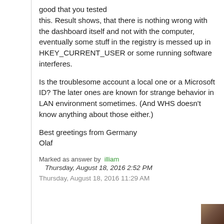good that you tested this. Result shows, that there is nothing wrong with the dashboard itself and not with the computer, eventually some stuff in the registry is messed up in HKEY_CURRENT_USER or some running software interferes.

Is the troublesome account a local one or a Microsoft ID? The later ones are known for strange behavior in LAN environment sometimes. (And WHS doesn't know anything about those either.)

Best greetings from Germany
Olaf
Marked as answer by illiam
Thursday, August 18, 2016 2:52 PM
Thursday, August 18, 2016 11:29 AM